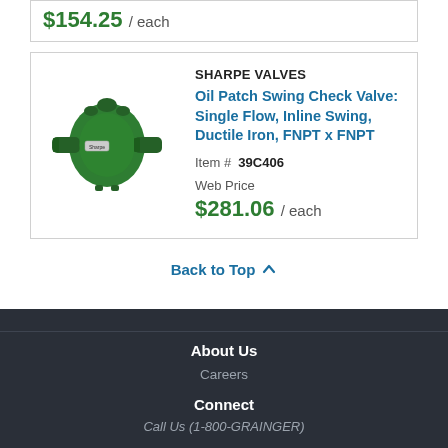$154.25 / each
SHARPE VALVES
Oil Patch Swing Check Valve: Single Flow, Inline Swing, Ductile Iron, FNPT x FNPT
Item # 39C406
Web Price
$281.06 / each
Back to Top
About Us
Careers
Connect
Call Us (1-800-GRAINGER)